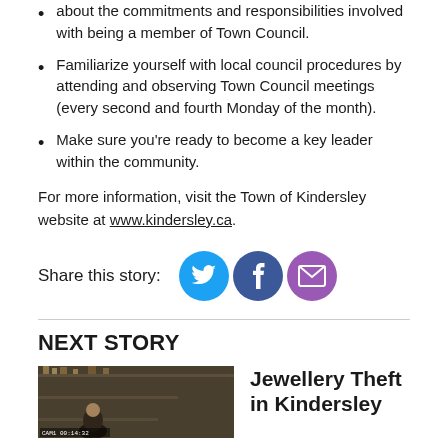about the commitments and responsibilities involved with being a member of Town Council.
Familiarize yourself with local council procedures by attending and observing Town Council meetings (every second and fourth Monday of the month).
Make sure you're ready to become a key leader within the community.
For more information, visit the Town of Kindersley website at www.kindersley.ca.
[Figure (infographic): Share this story social media icons: Twitter (blue circle), Facebook (dark blue circle), Email (purple circle)]
NEXT STORY
[Figure (photo): Security camera footage thumbnail showing store interior with people]
Jewellery Theft in Kindersley